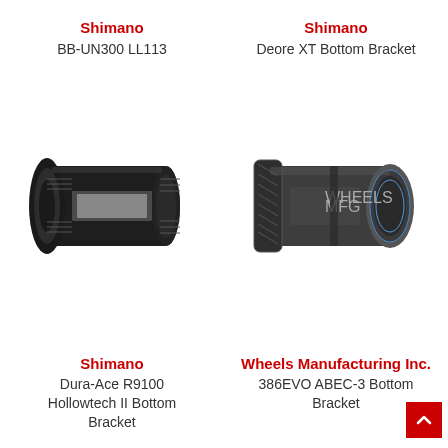Shimano BB-UN300 LL113
Shimano Deore XT Bottom Bracket
[Figure (photo): Shimano Dura-Ace R9100 Hollowtech II Bottom Bracket — black threaded bottom bracket with grey seals]
[Figure (photo): Wheels Manufacturing Inc. 386EVO ABEC-3 Bottom Bracket — dark cylindrical press-fit bottom bracket with blue bearing ring visible]
Shimano Dura-Ace R9100 Hollowtech II Bottom Bracket
Wheels Manufacturing Inc. 386EVO ABEC-3 Bottom Bracket